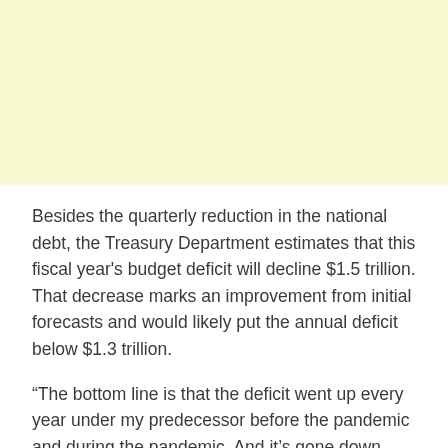[Figure (other): Pale yellow rectangular block occupying the top portion of the page]
Besides the quarterly reduction in the national debt, the Treasury Department estimates that this fiscal year's budget deficit will decline $1.5 trillion. That decrease marks an improvement from initial forecasts and would likely put the annual deficit below $1.3 trillion.
“The bottom line is that the deficit went up every year under my predecessor before the pandemic and during the pandemic. And it’s gone down both years since I’ve been here. Period,” he said.